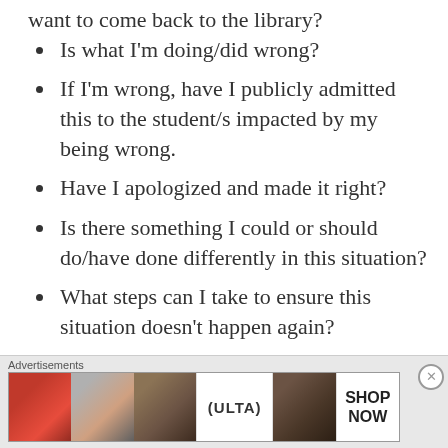want to come back to the library?
Is what I'm doing/did wrong?
If I'm wrong, have I publicly admitted this to the student/s impacted by my being wrong.
Have I apologized and made it right?
Is there something I could or should do/have done differently in this situation?
What steps can I take to ensure this situation doesn't happen again?
[Figure (advertisement): Ulta Beauty advertisement banner showing cosmetics images with SHOP NOW text]